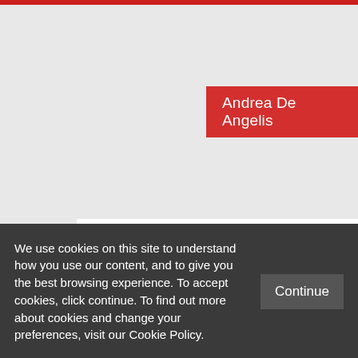Andrea De Angelis
New survey evidence: Renzi's support is damaging the chances of a Yes vote in Italy's referendum
We use cookies on this site to understand how you use our content, and to give you the best browsing experience. To accept cookies, click continue. To find out more about cookies and change your preferences, visit our Cookie Policy.